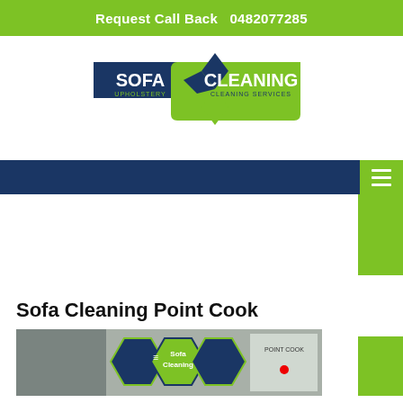Request Call Back   0482077285
[Figure (logo): Sofa Cleaning Upholstery Cleaning Services logo — dark blue and green shield/ribbon shape with white text]
[Figure (other): Dark blue navigation bar with green hamburger menu button on right]
Sofa Cleaning Point Cook
[Figure (photo): Sofa Cleaning Point Cook service image showing green hexagonal icons with sofa cleaning imagery and a map]